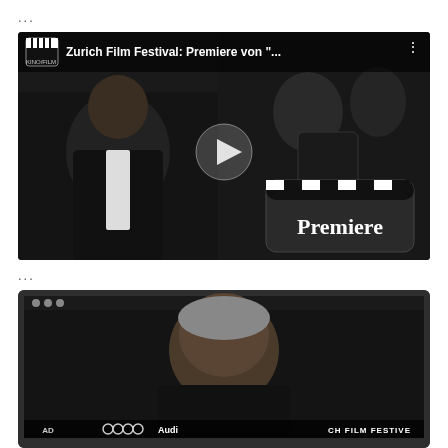...
[Figure (screenshot): Video thumbnail for 'Zurich Film Festival: Premiere von ...' showing a man in a dark suit being interviewed, with a clapperboard graphic overlay reading 'Premiere', play button in center]
...
[Figure (screenshot): Video thumbnail showing a man at the Zurich Film Festival with Audi branding visible in background, displayed in a dark laptop-style frame]